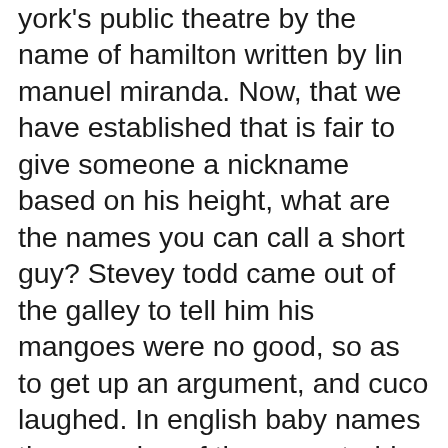york's public theatre by the name of hamilton written by lin manuel miranda. Now, that we have established that is fair to give someone a nickname based on his height, what are the names you can call a short guy? Stevey todd came out of the galley to tell him his mangoes were no good, so as to get up an argument, and cuco laughed. In english baby names the meaning of the name todd is: Parents love to name their sons tyler. Todd is short for toddler. Todd is at the piano, struggling to come up with a script for his review for. Todd is quite simply todd with one d todd is the transferred use of an english surname which originated as a nickname from the middle english northern dialect todde which meant fox.